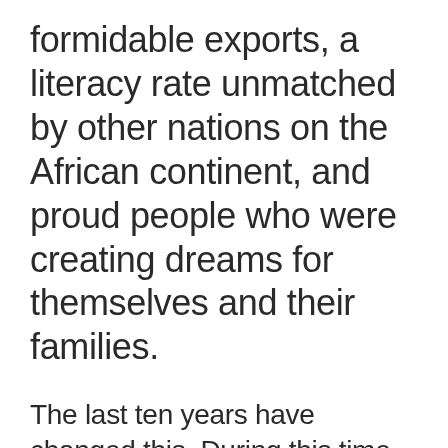formidable exports, a literacy rate unmatched by other nations on the African continent, and proud people who were creating dreams for themselves and their families.
The last ten years have changed this. During this time, Zimbabwe has been plagued by shortages – shortages of life's basics like fuel, food, water, electricity and cash. More importantly, however, has been the shortage of trust in the formerly